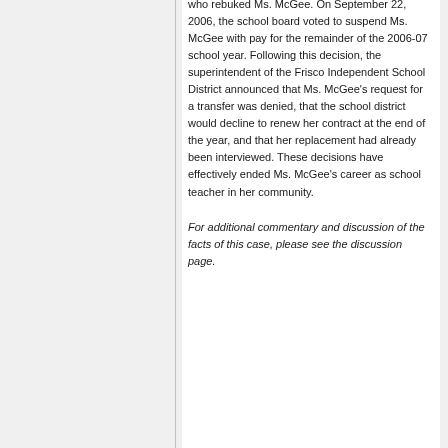who rebuked Ms. McGee. On September 22, 2006, the school board voted to suspend Ms. McGee with pay for the remainder of the 2006-07 school year. Following this decision, the superintendent of the Frisco Independent School District announced that Ms. McGee's request for a transfer was denied, that the school district would decline to renew her contract at the end of the year, and that her replacement had already been interviewed. These decisions have effectively ended Ms. McGee's career as school teacher in her community.
For additional commentary and discussion of the facts of this case, please see the discussion page.